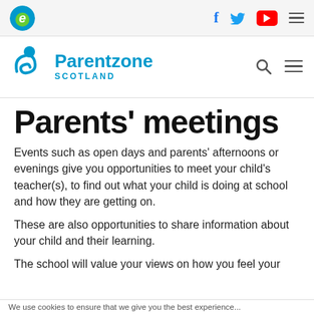[Figure (logo): Top navigation bar with 'e' site logo on left and social media icons (Facebook, Twitter, YouTube) and hamburger menu on right]
[Figure (logo): Parentzone Scotland logo with blue swirl icon, text 'Parentzone SCOTLAND', search icon and hamburger menu on right]
Parents' meetings
Events such as open days and parents' afternoons or evenings give you opportunities to meet your child's teacher(s), to find out what your child is doing at school and how they are getting on.
These are also opportunities to share information about your child and their learning.
The school will value your views on how you feel your
We use cookies to ensure that we give you the best experience...